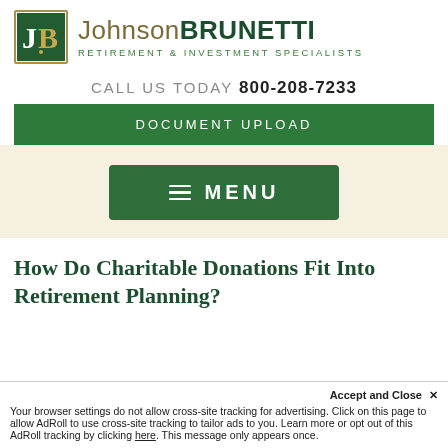[Figure (logo): Johnson Brunetti logo with JB monogram in green and gold square, company name and tagline]
CALL US TODAY 800-208-7233
DOCUMENT UPLOAD
≡ MENU
How Do Charitable Donations Fit Into Retirement Planning?
Accept and Close ✕
Your browser settings do not allow cross-site tracking for advertising. Click on this page to allow AdRoll to use cross-site tracking to tailor ads to you. Learn more or opt out of this AdRoll tracking by clicking here. This message only appears once.